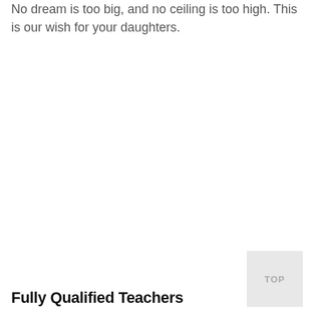No dream is too big, and no ceiling is too high. This is our wish for your daughters.
Fully Qualified Teachers